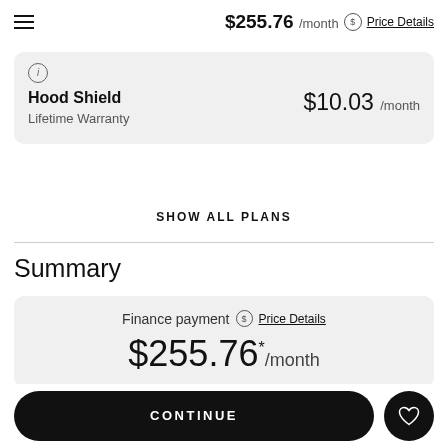$255.76 /month Price Details
Hood Shield $10.03 /month Lifetime Warranty
SHOW ALL PLANS
Summary
Finance payment Price Details $255.76 * /month
CONTINUE